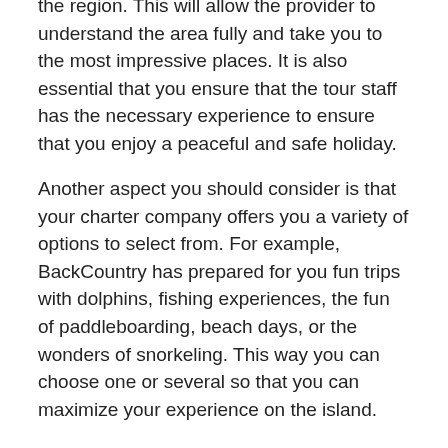the region. This will allow the provider to understand the area fully and take you to the most impressive places. It is also essential that you ensure that the tour staff has the necessary experience to ensure that you enjoy a peaceful and safe holiday.
Another aspect you should consider is that your charter company offers you a variety of options to select from. For example, BackCountry has prepared for you fun trips with dolphins, fishing experiences, the fun of paddleboarding, beach days, or the wonders of snorkeling. This way you can choose one or several so that you can maximize your experience on the island.
The quality of the boat is essential for a pleasant trip. If the boats are in bad condition or very noisy, you will not be able to enjoy the tranquility of this spectacular place. The supplier must also have all the necessary equipment for the type of activity to be carried out. This will save you additional expenses, and the tedium of having to carry additional luggage during your vacation.
You should also make sure that you have a guide during your expeditions. It is also vital that they can provide you with a full …